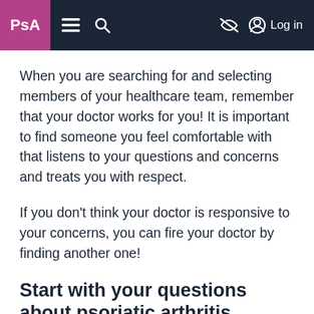PsA | menu | search | eye-slash | Log in
When you are searching for and selecting members of your healthcare team, remember that your doctor works for you! It is important to find someone you feel comfortable with that listens to your questions and concerns and treats you with respect.
If you don't think your doctor is responsive to your concerns, you can fire your doctor by finding another one!
Start with your questions about psoriatic arthritis